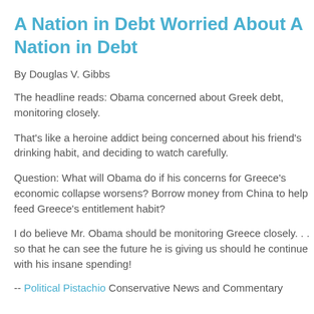A Nation in Debt Worried About A Nation in Debt
By Douglas V. Gibbs
The headline reads: Obama concerned about Greek debt, monitoring closely.
That's like a heroine addict being concerned about his friend's drinking habit, and deciding to watch carefully.
Question: What will Obama do if his concerns for Greece's economic collapse worsens? Borrow money from China to help feed Greece's entitlement habit?
I do believe Mr. Obama should be monitoring Greece closely. . . so that he can see the future he is giving us should he continue with his insane spending!
-- Political Pistachio Conservative News and Commentary